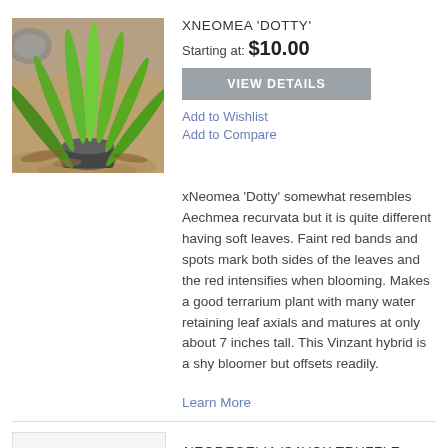[Figure (photo): Photo of xNeomea 'Dotty' plant in a pot, with green spiky leaves, on a background of leaves and rocks.]
XNEOMEA 'DOTTY'
Starting at: $10.00
VIEW DETAILS
Add to Wishlist
Add to Compare
xNeomea 'Dotty' somewhat resembles Aechmea recurvata but it is quite different having soft leaves. Faint red bands and spots mark both sides of the leaves and the red intensifies when blooming. Makes a good terrarium plant with many water retaining leaf axials and matures at only about 7 inches tall. This Vinzant hybrid is a shy bloomer but offsets readily.
Learn More
NEOREGELIA 'SAVOY TRUFFLE